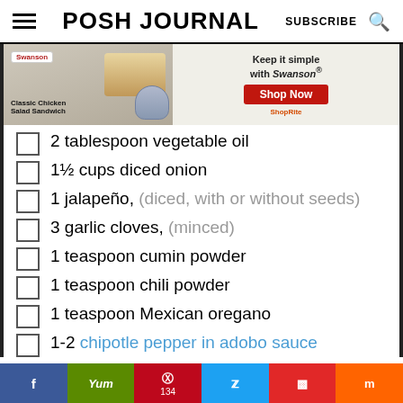POSH JOURNAL — SUBSCRIBE
[Figure (infographic): Advertisement banner for Swanson Classic Chicken Salad Sandwich with 'Keep it simple with Swanson®' tagline, Shop Now button, and ShopRite logo]
2 tablespoon vegetable oil
1½ cups diced onion
1 jalapeño, (diced, with or without seeds)
3 garlic cloves, (minced)
1 teaspoon cumin powder
1 teaspoon chili powder
1 teaspoon Mexican oregano
1-2 chipotle pepper in adobo sauce